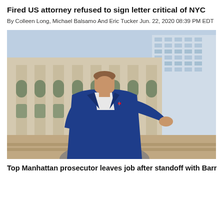Fired US attorney refused to sign letter critical of NYC
By Colleen Long, Michael Balsamo And Eric Tucker Jun. 22, 2020 08:39 PM EDT
[Figure (photo): A man in a blue suit gesturing with his right hand outdoors in front of a classical stone building with arched windows and a modern glass skyscraper in the background.]
Top Manhattan prosecutor leaves job after standoff with Barr